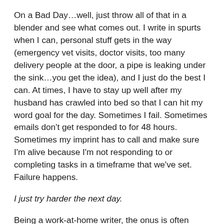On a Bad Day…well, just throw all of that in a blender and see what comes out. I write in spurts when I can, personal stuff gets in the way (emergency vet visits, doctor visits, too many delivery people at the door, a pipe is leaking under the sink…you get the idea), and I just do the best I can. At times, I have to stay up well after my husband has crawled into bed so that I can hit my word goal for the day. Sometimes I fail. Sometimes emails don't get responded to for 48 hours. Sometimes my imprint has to call and make sure I'm alive because I'm not responding to or completing tasks in a timeframe that we've set. Failure happens.
I just try harder the next day.
Being a work-at-home writer, the onus is often placed on me to make sure mine and my husband's home life goes smoothly. Don't get me wrong–my husband is wonderful–but being home all day, it is understandable that I will be